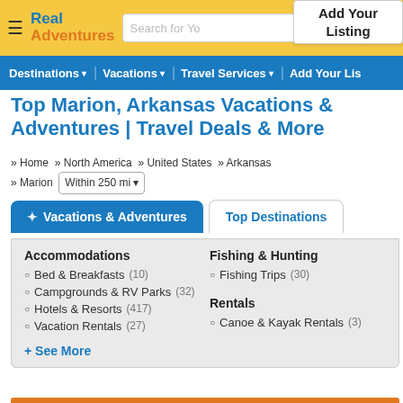[Figure (screenshot): Real Adventures website header with logo, search bar, and Add Your Listing button]
Destinations  Vacations  Travel Services  Add Your Listing
Top Marion, Arkansas Vacations & Adventures | Travel Deals & More
» Home  » North America  » United States  » Arkansas  » Marion  Within 250 mi
✦ Vacations & Adventures
Top Destinations
Accommodations
Bed & Breakfasts (10)
Campgrounds & RV Parks (32)
Hotels & Resorts (417)
Vacation Rentals (27)
Fishing & Hunting
Fishing Trips (30)
Rentals
Canoe & Kayak Rentals (3)
+ See More